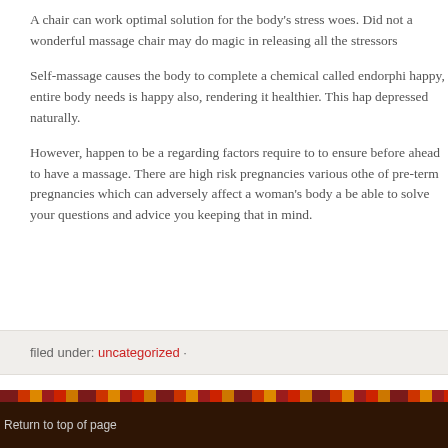A chair can work optimal solution for the body's stress woes. Did not a wonderful massage chair may do magic in releasing all the stressors
Self-massage causes the body to complete a chemical called endorphi happy, entire body needs is happy also, rendering it healthier. This hap depressed naturally.
However, happen to be a regarding factors require to to ensure before ahead to have a massage. There are high risk pregnancies various othe of pre-term pregnancies which can adversely affect a woman's body a be able to solve your questions and advice you keeping that in mind.
filed under: uncategorized ·
Return to top of page